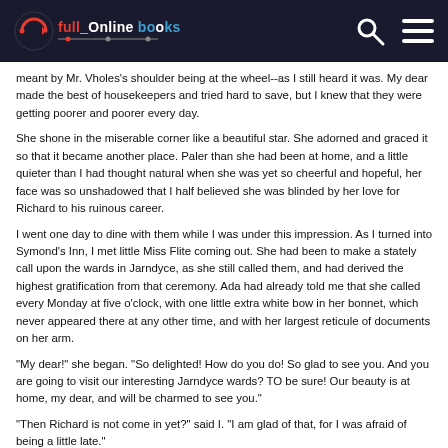Full Online Books
meant by Mr. Vholes's shoulder being at the wheel--as I still heard it was. My dear made the best of housekeepers and tried hard to save, but I knew that they were getting poorer and poorer every day.
She shone in the miserable corner like a beautiful star. She adorned and graced it so that it became another place. Paler than she had been at home, and a little quieter than I had thought natural when she was yet so cheerful and hopeful, her face was so unshadowed that I half believed she was blinded by her love for Richard to his ruinous career.
I went one day to dine with them while I was under this impression. As I turned into Symond's Inn, I met little Miss Flite coming out. She had been to make a stately call upon the wards in Jarndyce, as she still called them, and had derived the highest gratification from that ceremony. Ada had already told me that she called every Monday at five o'clock, with one little extra white bow in her bonnet, which never appeared there at any other time, and with her largest reticule of documents on her arm.
"My dear!" she began. "So delighted! How do you do! So glad to see you. And you are going to visit our interesting Jarndyce wards? TO be sure! Our beauty is at home, my dear, and will be charmed to see you."
"Then Richard is not come in yet?" said I. "I am glad of that, for I was afraid of being a little late."
"No, he is not come in," returned Miss Flite. "He has had a long